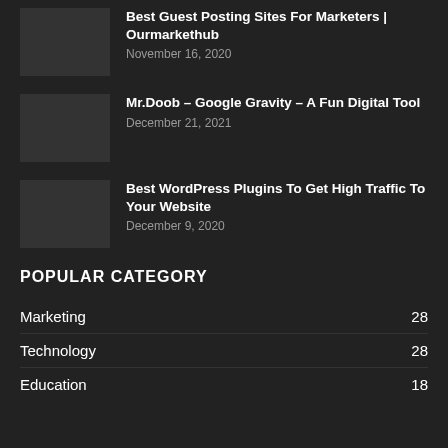Best Guest Posting Sites For Marketers | Ourmarkethub — November 16, 2020
Mr.Doob – Google Gravity – A Fun Digital Tool — December 21, 2021
Best WordPress Plugins To Get High Traffic To Your Website — December 9, 2020
POPULAR CATEGORY
Marketing 28
Technology 28
Education 18